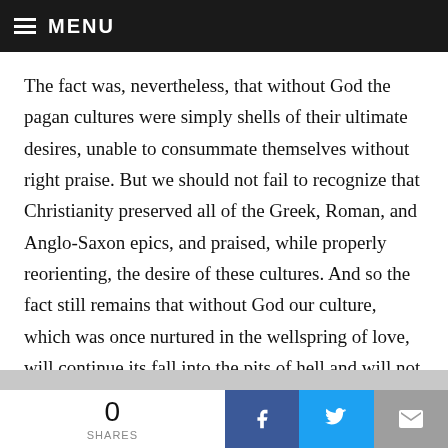MENU
The fact was, nevertheless, that without God the pagan cultures were simply shells of their ultimate desires, unable to consummate themselves without right praise. But we should not fail to recognize that Christianity preserved all of the Greek, Roman, and Anglo-Saxon epics, and praised, while properly reorienting, the desire of these cultures. And so the fact still remains that without God our culture, which was once nurtured in the wellspring of love, will continue its fall into the pits of hell and will not stop until it arrives at nothingness. For without anything to